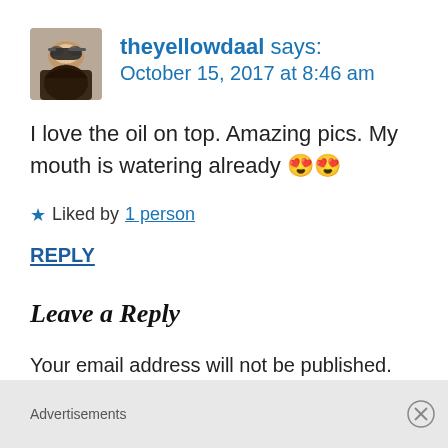[Figure (photo): Profile avatar photo of a woman wearing sunglasses]
theyellowdaal says:
October 15, 2017 at 8:46 am
I love the oil on top. Amazing pics. My mouth is watering already 😍😍
★ Liked by 1 person
REPLY
Leave a Reply
Your email address will not be published. Required fields are marked *
Advertisements